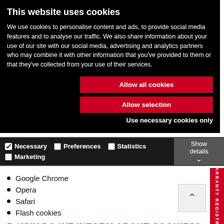This website uses cookies
We use cookies to personalise content and ads, to provide social media features and to analyse our traffic. We also share information about your use of our site with our social media, advertising and analytics partners who may combine it with other information that you've provided to them or that they've collected from your use of their services.
Allow all cookies
Allow selection
Use necessary cookies only
| ☑ Necessary | ☐ Preferences | ☐ Statistics | Show details |
| ☐ Marketing |  |  |  |
Google Chrome
Opera
Safari
Flash cookies
5. WHY DO WE INFORM ABOUT COOKIES?
All Danish websites are obliged to inform about which